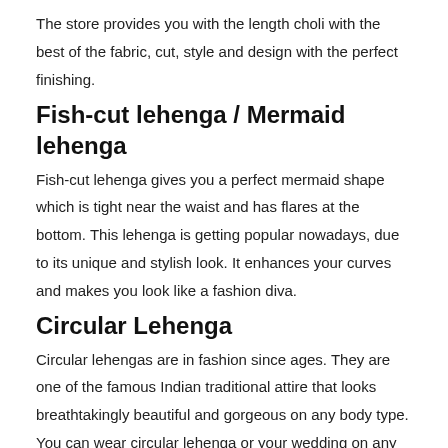The store provides you with the length choli with the best of the fabric, cut, style and design with the perfect finishing.
Fish-cut lehenga / Mermaid lehenga
Fish-cut lehenga gives you a perfect mermaid shape which is tight near the waist and has flares at the bottom. This lehenga is getting popular nowadays, due to its unique and stylish look. It enhances your curves and makes you look like a fashion diva.
Circular Lehenga
Circular lehengas are in fashion since ages. They are one of the famous Indian traditional attire that looks breathtakingly beautiful and gorgeous on any body type. You can wear circular lehenga or your wedding on any special occasion to grab the attentions.
A-Line Lehenga
A-line lehenga makes you look slim and flattering. This is slightly tight near the waist and opens up at the bottom. You can get gorgeous collection of A-line lehenga choli at a reasonable price at FazIndia.
Bollywood Lehenga